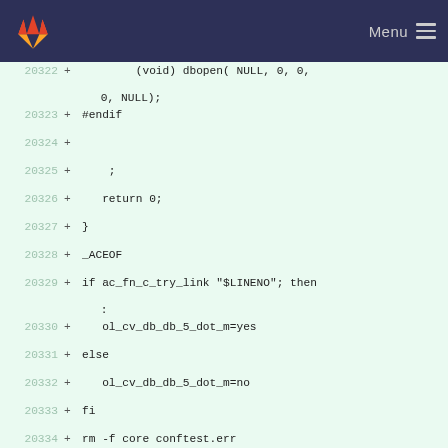GitLab Menu
20322 +         (void) dbopen( NULL, 0, 0,
    0, NULL);
20323 + #endif
20324 +
20325 +     ;
20326 +   return 0;
20327 + }
20328 + _ACEOF
20329 + if ac_fn_c_try_link "$LINENO"; then
    :
20330 +   ol_cv_db_db_5_dot_m=yes
20331 + else
20332 +   ol_cv_db_db_5_dot_m=no
20333 + fi
20334 + rm -f core conftest.err
    conftest.$ac_objext \
20335 +       conftest$ac_exeext
    conftest.$ac_ext
20336 +
20337 +         LIBS="$ol_LIBS"